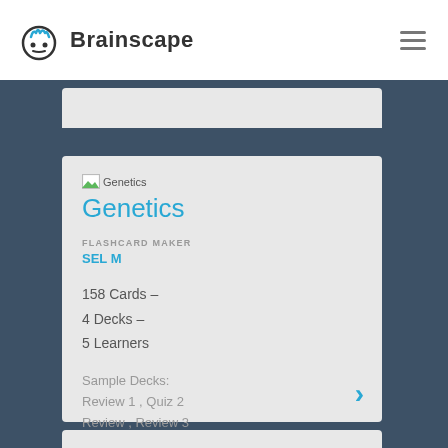Brainscape
Genetics
FLASHCARD MAKER
SEL M
158 Cards –
4 Decks –
5 Learners
Sample Decks:
Review 1 , Quiz 2 Review , Review 3